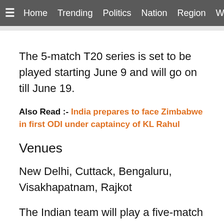≡  Home  Trending  Politics  Nation  Region  Worl
The 5-match T20 series is set to be played starting June 9 and will go on till June 19.
Also Read :- India prepares to face Zimbabwe in first ODI under captaincy of KL Rahul
Venues
New Delhi, Cuttack, Bengaluru, Visakhapatnam, Rajkot
The Indian team will play a five-match T20I series against South Africa on five different venues which include New Delhi, Cuttack,